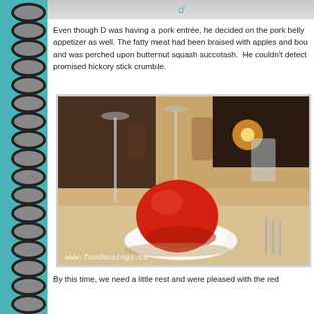[Figure (photo): Top strip partial image from previous photo]
Even though D was having a pork entrée, he decided on the pork belly appetizer as well. The fatty meat had been braised with apples and bou and was perched upon butternut squash succotash.  He couldn't detect promised hickory stick crumble.
[Figure (photo): A red sorbet or sherbet scoop on a small white dish, on a restaurant table with glassware visible in the background. Watermark reads www.foodmusings.ca]
By this time, we need a little rest and were pleased with the red